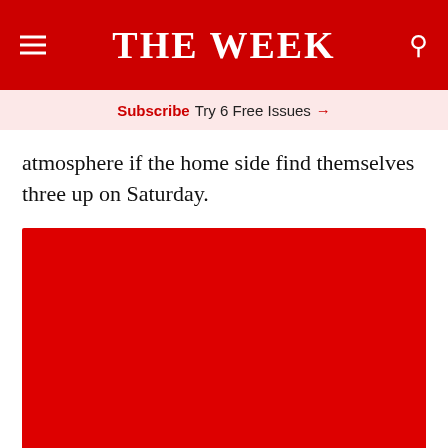THE WEEK
Subscribe Try 6 Free Issues →
atmosphere if the home side find themselves three up on Saturday.
[Figure (photo): Large red image block, contents not visible]